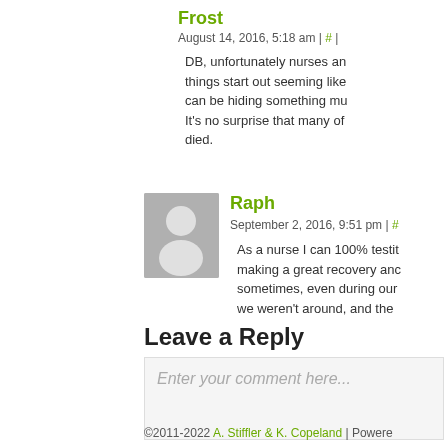Frost
August 14, 2016, 5:18 am | # |
DB, unfortunately nurses an things start out seeming like can be hiding something mu It's no surprise that many of died.
[Figure (illustration): Grey avatar placeholder icon for user Raph]
Raph
September 2, 2016, 9:51 pm | #
As a nurse I can 100% testit making a great recovery anc sometimes, even during our we weren't around, and the
Leave a Reply
Enter your comment here...
©2011-2022 A. Stiffler & K. Copeland | Powere